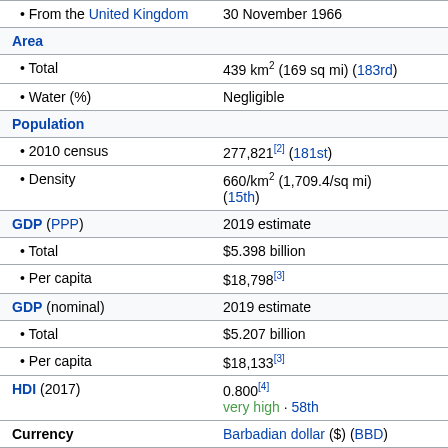| • From the United Kingdom | 30 November 1966 |
| Area |  |
| • Total | 439 km² (169 sq mi) (183rd) |
| • Water (%) | Negligible |
| Population |  |
| • 2010 census | 277,821[2] (181st) |
| • Density | 660/km² (1,709.4/sq mi) (15th) |
| GDP (PPP) | 2019 estimate |
| • Total | $5.398 billion |
| • Per capita | $18,798[3] |
| GDP (nominal) | 2019 estimate |
| • Total | $5.207 billion |
| • Per capita | $18,133[3] |
| HDI (2017) | 0.800[4] very high · 58th |
| Currency | Barbadian dollar ($) (BBD) |
| Time zone | UTC−4 (AST) |
| Driving side | left[5] |